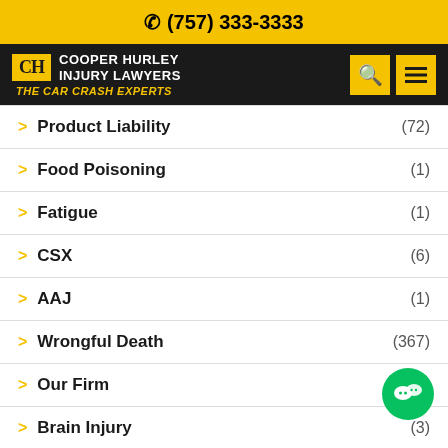(757) 333-3333
[Figure (logo): Cooper Hurley Injury Lawyers - The Car Crash Experts logo with yellow badge on black background, search and menu icons]
Product Liability (72)
Food Poisoning (1)
Fatigue (1)
CSX (6)
AAJ (1)
Wrongful Death (367)
Our Firm (2...)
Brain Injury (3)